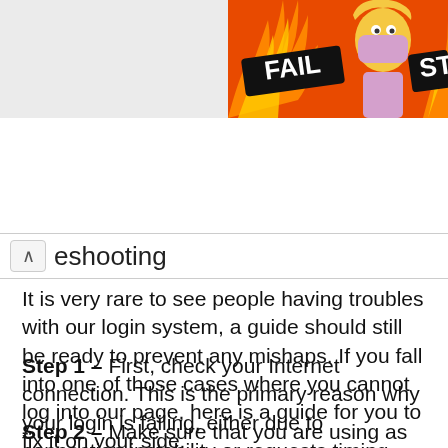[Figure (illustration): Colorful banner image with flames, a cartoon woman covering her face, and the word FAIL on a banner. Partial 'STA' text visible at right edge. Orange/red background with fire motif.]
eshooting
It is very rare to see people having troubles with our login system, a guide should still be ready to prevent any mishaps. If you fall into one of those cases where you cannot log into our page, here is a guide for you to fix it on your side.
Step 1 – First, check your Internet connection. This is the primary reason why your login is failing, either due to connection instability or requests timing out.
Step 2 – Make sure that you are using as well as entering the right login information. Some of our customers have tried using their old passwords and failed. If you can, you